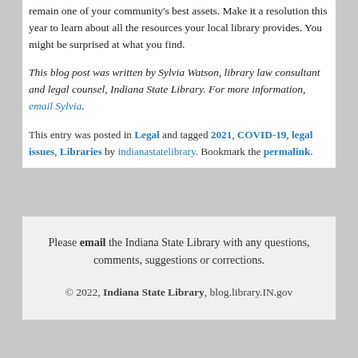remain one of your community's best assets. Make it a resolution this year to learn about all the resources your local library provides. You might be surprised at what you find.
This blog post was written by Sylvia Watson, library law consultant and legal counsel, Indiana State Library. For more information, email Sylvia.
This entry was posted in Legal and tagged 2021, COVID-19, legal issues, Libraries by indianastatelibrary. Bookmark the permalink.
Please email the Indiana State Library with any questions, comments, suggestions or corrections.
© 2022, Indiana State Library, blog.library.IN.gov